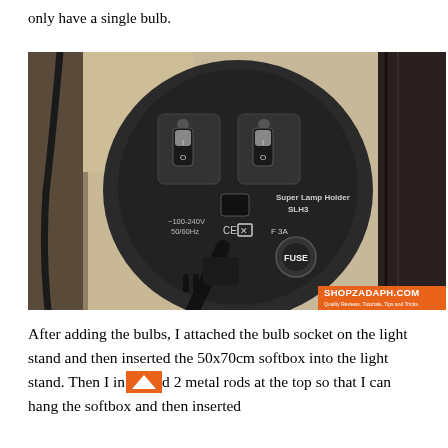only have a single bulb.
[Figure (photo): Back panel of a Super Lamp Holder SLH3 with two toggle switches, CE/X marking, 100-240V 50/60Hz rating, F 3A fuse, and a power cable plugged in. The device is mounted on a light stand with a softbox visible in the background. A SHOPZADAPH.COM watermark is in the bottom-right corner.]
After adding the bulbs, I attached the bulb socket on the light stand and then inserted the 50x70cm softbox into the light stand. Then I inserted 2 metal rods at the top so that I can hang the softbox and then inserted